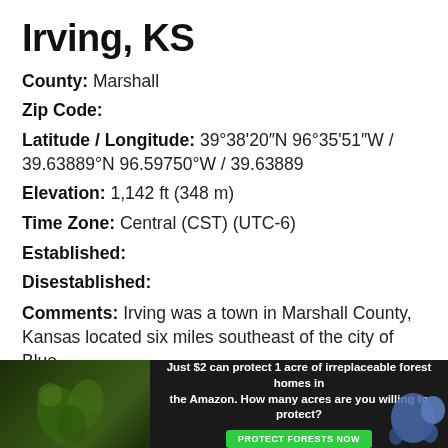Irving, KS
County: Marshall
Zip Code:
Latitude / Longitude: 39°38'20"N 96°35'51"W / 39.63889°N 96.59750°W / 39.63889
Elevation: 1,142 ft (348 m)
Time Zone: Central (CST) (UTC-6)
Established:
Disestablished:
Comments: Irving was a town in Marshall County, Kansas located six miles southeast of the city of Blue Rapids along the Big Blue River. Irving was one o...
[Figure (infographic): Advertisement banner: 'Just $2 can protect 1 acre of irreplaceable forest homes in the Amazon. How many acres are you willing to protect?' with a green 'Protect Forests Now' button, forest imagery on left, and a paw/animal icon on right.]